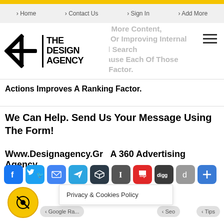Home | Contact Us | Sign In | Add More
[Figure (logo): The Design Agency logo with asterisk/snowflake icon and bold text THE DESIGN AGENCY]
As You'll Shortly See, Adding More Content, Optimizing Image Filenames, Or Improving Internal Rankings And Search Visibility Because Each Of Those Actions Improves A Ranking Factor.
We Can Help. Send Us Your Message Using The Form!
Www.Designagency.Gr  A 360 Advertising Agency
[Figure (infographic): Row of social sharing icons: Facebook, Twitter, Email, Telegram, Buffer, Instapaper, Flipboard, Digg, Diaspora, More]
Privacy & Cookies Policy | Google Ra... | Seo | Tips